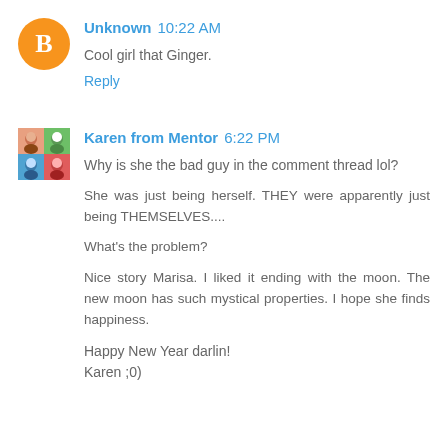Unknown 10:22 AM
Cool girl that Ginger.
Reply
Karen from Mentor 6:22 PM
Why is she the bad guy in the comment thread lol?

She was just being herself. THEY were apparently just being THEMSELVES....

What's the problem?

Nice story Marisa. I liked it ending with the moon. The new moon has such mystical properties. I hope she finds happiness.

Happy New Year darlin!
Karen ;0)